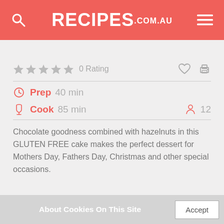RECIPES.com.au
0 Rating
Prep  40 min
Cook  85 min   12
Chocolate goodness combined with hazelnuts in this GLUTEN FREE cake makes the perfect dessert for Mothers Day, Fathers Day, Christmas and other special occasions.
About Cookies On This Site  Accept